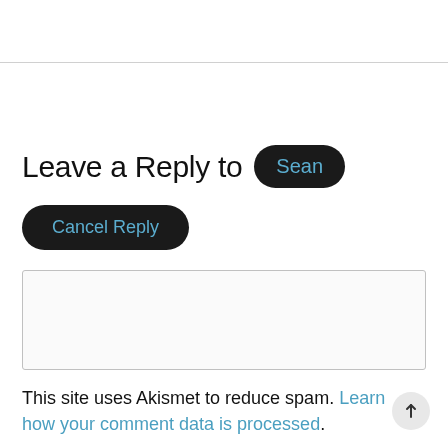Leave a Reply to Sean
Cancel Reply
Enter your comment here...
This site uses Akismet to reduce spam. Learn how your comment data is processed.